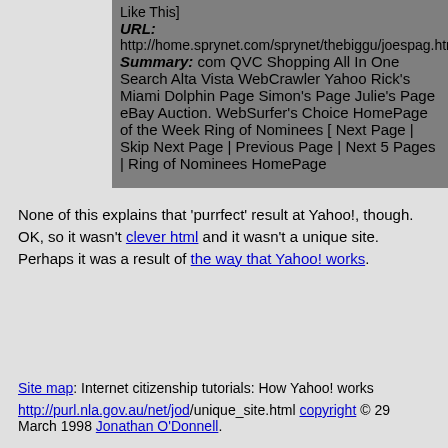Like This]
URL: http://home.sprynet.com/sprynet/thebiggu/joespag.htm
Summary: com QVC Shopping All In One Search Alta Vista WebCrawler Yahoo Rick's Miami Dolphin Page Simon's Page Julie's Page eBay Auction. WebSurfer's Choice HomePage of the Week Ring of Nominees [ Next Page | Skip Next Page | Previous Page | Next 5 Pages | Ring of Nominees HomePage
None of this explains that 'purrfect' result at Yahoo!, though. OK, so it wasn't clever html and it wasn't a unique site. Perhaps it was a result of the way that Yahoo! works.
Site map: Internet citizenship tutorials: How Yahoo! works
http://purl.nla.gov.au/net/jod/unique_site.html copyright © 29 March 1998 Jonathan O'Donnell.